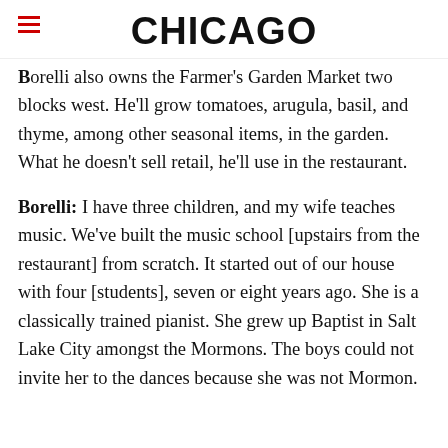CHICAGO
Borelli also owns the Farmer's Garden Market two blocks west. He'll grow tomatoes, arugula, basil, and thyme, among other seasonal items, in the garden. What he doesn't sell retail, he'll use in the restaurant.
Borelli: I have three children, and my wife teaches music. We've built the music school [upstairs from the restaurant] from scratch. It started out of our house with four [students], seven or eight years ago. She is a classically trained pianist. She grew up Baptist in Salt Lake City amongst the Mormons. The boys could not invite her to the dances because she was not Mormon.